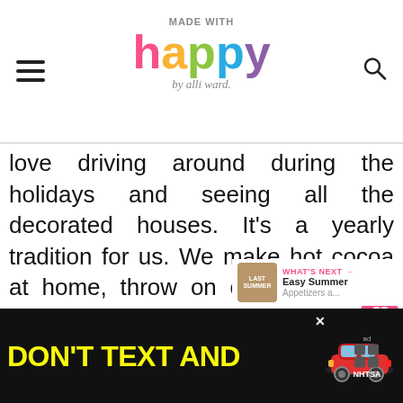MADE WITH happy by alli ward.
love driving around during the holidays and seeing all the decorated houses. It’s a yearly tradition for us. We make hot cocoa at home, throw on comfy pajamas and drive around the neighborhood to see all the lights. With so many school events, festivals and local happenings, it’s nice to have some simple and free family fun.
[Figure (other): DON'T TEXT AND drive safety advertisement banner (NHTSA) with yellow and cyan text on black background, cartoon red car illustration]
WHAT'S NEXT → Easy Summer Appetizers a...